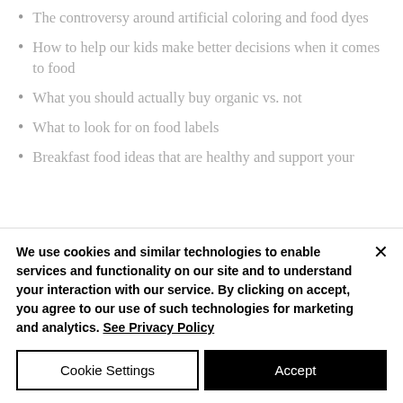The controversy around artificial coloring and food dyes
How to help our kids make better decisions when it comes to food
What you should actually buy organic vs. not
What to look for on food labels
Breakfast food ideas that are healthy and support your
We use cookies and similar technologies to enable services and functionality on our site and to understand your interaction with our service. By clicking on accept, you agree to our use of such technologies for marketing and analytics. See Privacy Policy